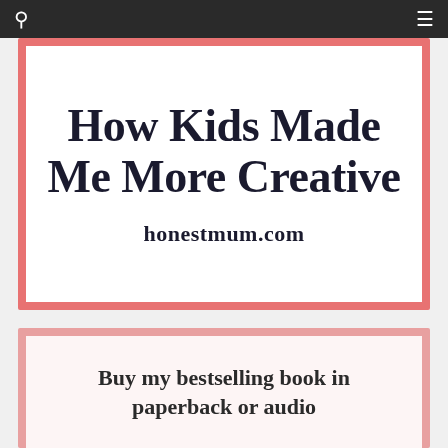navigation bar with search and menu icons
How Kids Made Me More Creative
honestmum.com
Buy my bestselling book in paperback or audio
My debut book is my guide to surviving and thriving at work and at home and offers insight into how to create a